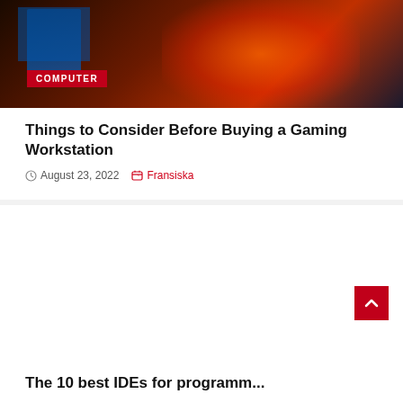[Figure (photo): Dark gaming setup header image with orange/red glow effect. 'COMPUTER' badge overlaid.]
Things to Consider Before Buying a Gaming Workstation
August 23, 2022   Fransiska
[Figure (illustration): 3D illustration of a cartoon programmer sitting in a chair using a laptop, surrounded by code editor windows, gears, lightbulb, hashtag and programming icons on a blue/purple background. 'PROGRAMMING' badge overlaid.]
The 10 best IDEs for programm...